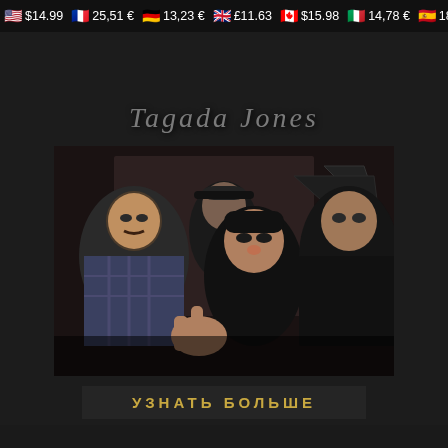$14.99  25,51 €  13,23 €  £11.63  $15.98  14,78 €  18,79 €
Tagada Jones
[Figure (photo): Band photo of Tagada Jones — four male band members in a dark studio setting. Man on far left in plaid shirt, man in center-back wearing cap, front-center man in black beanie making hand gesture, man on right in black t-shirt.]
УЗНАТЬ БОЛЬШЕ